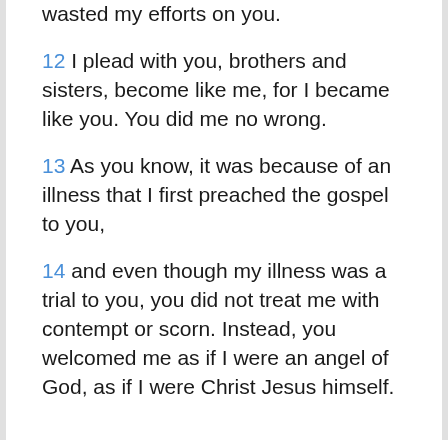wasted my efforts on you.
12 I plead with you, brothers and sisters, become like me, for I became like you. You did me no wrong.
13 As you know, it was because of an illness that I first preached the gospel to you,
14 and even though my illness was a trial to you, you did not treat me with contempt or scorn. Instead, you welcomed me as if I were an angel of God, as if I were Christ Jesus himself.